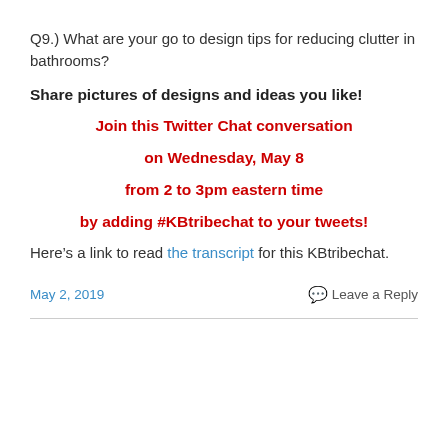Q9.) What are your go to design tips for reducing clutter in bathrooms?
Share pictures of designs and ideas you like!
Join this Twitter Chat conversation

on Wednesday, May 8

from 2 to 3pm eastern time

by adding #KBtribechat to your tweets!
Here’s a link to read the transcript for this KBtribechat.
May 2, 2019    Leave a Reply